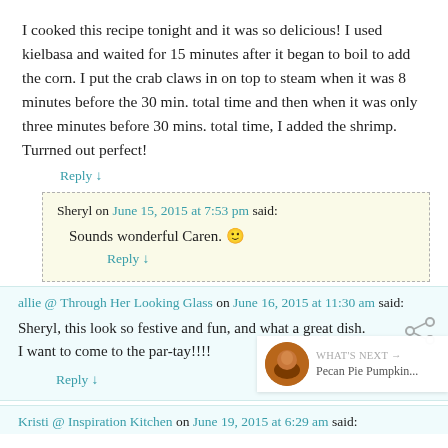I cooked this recipe tonight and it was so delicious! I used kielbasa and waited for 15 minutes after it began to boil to add the corn. I put the crab claws in on top to steam when it was 8 minutes before the 30 min. total time and then when it was only three minutes before 30 mins. total time, I added the shrimp. Turrned out perfect!
Reply ↓
Sheryl on June 15, 2015 at 7:53 pm said:
Sounds wonderful Caren. 🙂
Reply ↓
allie @ Through Her Looking Glass on June 16, 2015 at 11:30 am said:
Sheryl, this look so festive and fun, and what a great dish. I want to come to the par-tay!!!!
Reply ↓
Kristi @ Inspiration Kitchen on June 19, 2015 at 6:29 am said: